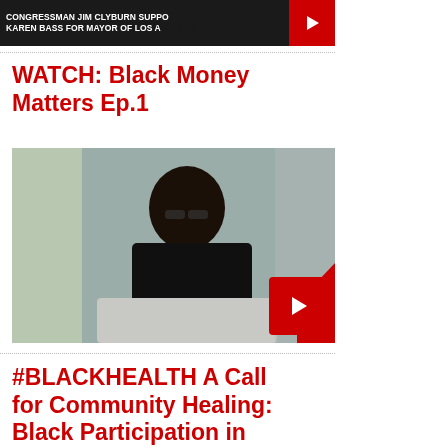[Figure (screenshot): Video thumbnail showing text 'Congressman Jim Clyburn Supports Karen Bass for Mayor of Los Angeles' with a red YouTube play button]
WATCH: Black Money Matters Ep.1
[Figure (photo): Video thumbnail of a woman with glasses and curly hair sitting indoors, with a red YouTube play button overlay in the bottom right]
#BLACKHEALTH A Call for Community Healing: Black Participation in Alzheimer's Research